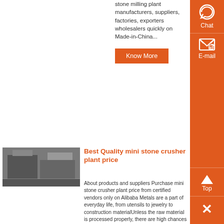stone milling plant manufacturers, suppliers, factories, exporters wholesalers quickly on Made-in-China...
Know More
[Figure (photo): Industrial crusher plant building exterior photo]
Best Quality mini stone crusher plant price
About products and suppliers Purchase mini stone crusher plant price from certified vendors only on Alibaba Metals are a part of everyday life, from utensils to jewelry to construction materialUnless the raw material is processed properly, there are high chances that the final products might lack in strength or durability...
Know More
[Figure (photo): Mobile quarry crusher machine on site]
quarry crusher machine manufacturer
Crusher manufacturers in China limestone production line Mobile stone crusher Plant For You World-Class Equipment Joyal Brand From Shanghai China Best Crushers And Mills Chat Support Available Export To 90 Countri Brands Joyal